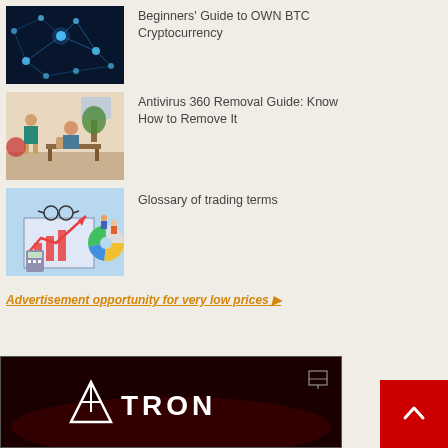[Figure (photo): Dark blue network/blockchain visualization with glowing blue nodes and connections]
Beginners' Guide to OWN BTC Cryptocurrency
[Figure (photo): Office scene with two women, one standing in teal dress, one seated, with furniture in background]
Antivirus 360 Removal Guide: Know How to Remove It
[Figure (illustration): Trading/finance illustration with charts, calculator, glasses, and small figures on a light blue background]
Glossary of trading terms
Advertisement opportunity for very low prices ▶
[Figure (logo): TRON cryptocurrency logo and brand name on dark red background]
[Figure (other): Red scroll-to-top button with up arrow chevron]